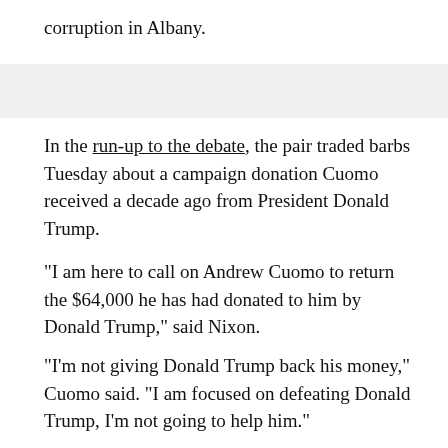corruption in Albany.
In the run-up to the debate, the pair traded barbs Tuesday about a campaign donation Cuomo received a decade ago from President Donald Trump.
"I am here to call on Andrew Cuomo to return the $64,000 he has had donated to him by Donald Trump," said Nixon.
"I'm not giving Donald Trump back his money," Cuomo said. "I am focused on defeating Donald Trump, I'm not going to help him."